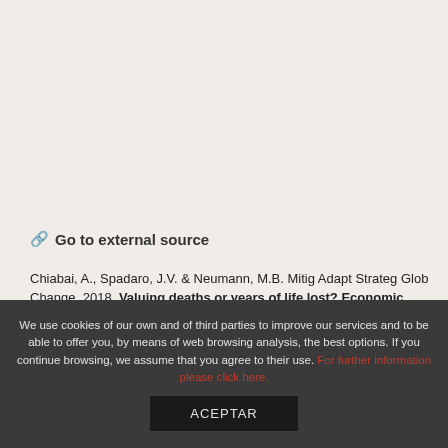🔗 Go to external source
Chiabai, A., Spadaro, J.V. & Neumann, M.B. Mitig Adapt Strateg Glob Change. 2018. Valuing deaths or years of life lost? Economic benefits of avoided mortality from early heat warning systems. Springer Netherlands. DOI (10.1007/s11027-018-9805-0)
We use cookies of our own and of third parties to improve our services and to be able to offer you, by means of web browsing analysis, the best options. If you continue browsing, we assume that you agree to their use. For further information please click here.
ACEPTAR